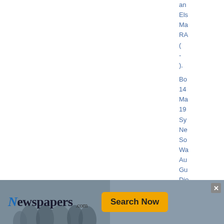an
Els
Ma
RA
(
-
).
Bo
14
Ma
19
Sy
Ne
So
Wa
Au
Gu
Die
22
Se
20
Ca
Au
Ca
Te
Au
[Figure (infographic): Newspapers.com advertisement banner with logo, photo background, Search Now button, and close X button]